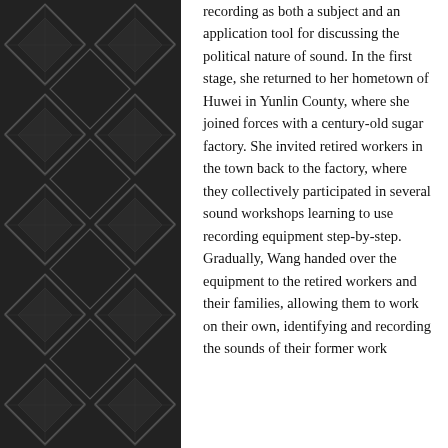recording as both a subject and an application tool for discussing the political nature of sound. In the first stage, she returned to her hometown of Huwei in Yunlin County, where she joined forces with a century-old sugar factory. She invited retired workers in the town back to the factory, where they collectively participated in several sound workshops learning to use recording equipment step-by-step. Gradually, Wang handed over the equipment to the retired workers and their families, allowing them to work on their own, identifying and recording the sounds of their former work